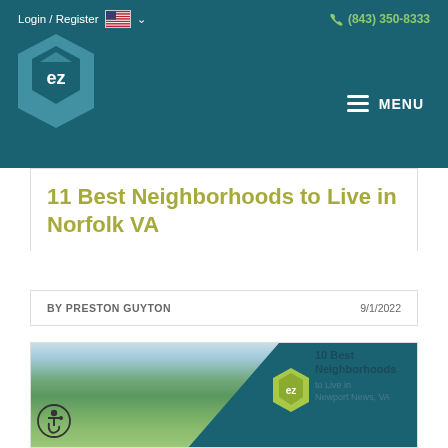Login / Register  (843) 350-8333  MENU
11 Best Neighborhoods to Live in Norfolk VA
BY PRESTON GUYTON   9/1/2022
[Figure (photo): Aerial view of a residential neighborhood with green trees and houses; overlaid with teal diagonal panel and a small 'ez' hexagon logo; related article text reads '10 Best Neighborhoods to Live in Newport News, VA'; accessibility icon in lower left corner]